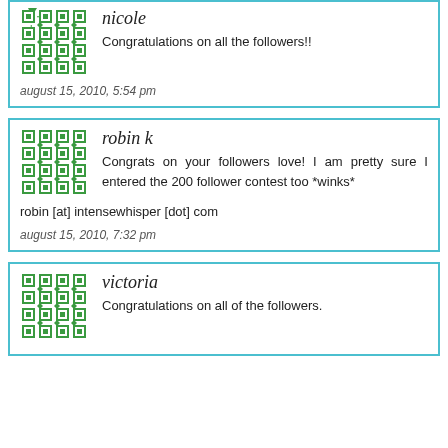[Figure (illustration): Green geometric pattern avatar for nicole]
nicole
Congratulations on all the followers!!
august 15, 2010, 5:54 pm
[Figure (illustration): Green geometric pattern avatar for robin k]
robin k
Congrats on your followers love! I am pretty sure I entered the 200 follower contest too *winks*
robin [at] intensewhisper [dot] com
august 15, 2010, 7:32 pm
[Figure (illustration): Green geometric pattern avatar for victoria]
victoria
Congratulations on all of the followers.